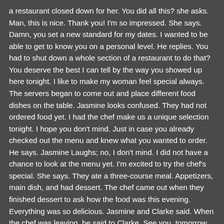a restaurant closed down for her. You did all this? she asks. Man, this is nice. Thank you! I'm so impressed. She says. Damn, you set a new standard for my dates. I wanted to be able to get to know you on a personal level. He replies. You had to shut down a whole section of a restaurant to do that? You deserve the best I can tell by the way you showed up here tonight. I like to make my woman feel special always. The servers began to come out and place different food dishes on the table. Jasmine looks confused. They had not ordered food yet. I had the chef make us a unique selection tonight. I hope you don't mind. Just in case you already checked out the menu and knew what you wanted to order. He says. Jasmine Laughs; no, I don't mind. I did not have a chance to look at the menu yet. I'm excited to try the chef's special. She says. They ate a three-course meal. Appetizers, main dish, and had dessert. The chef came out when they finished dessert to ask how the food was this evening. Everything was so delicious. Jasmine and Clarke said. When the chef was leaving, he said to Clarke, See you, tomorrow Boss. Jasmine asks Clarke do you work here? Yes, I'm the owner of Passion Cuisine. It makes sense how